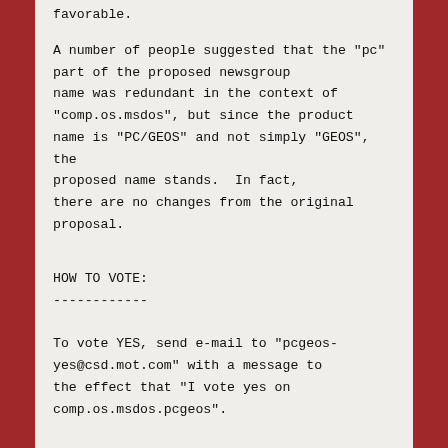favorable.
A number of people suggested that the "pc" part of the proposed newsgroup name was redundant in the context of "comp.os.msdos", but since the product name is "PC/GEOS" and not simply "GEOS", the proposed name stands.  In fact, there are no changes from the original proposal.
HOW TO VOTE:
------------
To vote YES, send e-mail to "pcgeos-yes@csd.mot.com" with a message to the effect that "I vote yes on comp.os.msdos.pcgeos".
To vote NO, send e-mail to "pcgeos-